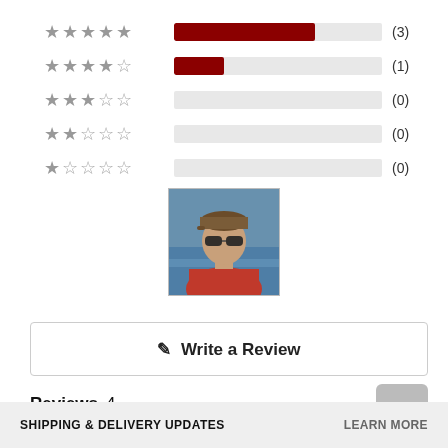[Figure (bar-chart): Star rating distribution]
[Figure (photo): Profile photo of a man wearing a brown cap and sunglasses, dressed in a red jacket, with water visible in the background.]
✎  Write a Review
Reviews  4
Sort
SHIPPING & DELIVERY UPDATES    LEARN MORE